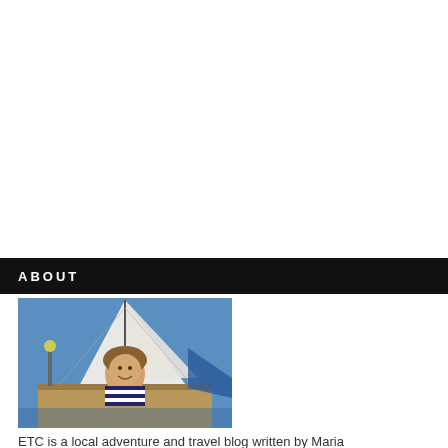ABOUT
[Figure (photo): A woman in a striped top smiling on a sailboat deck, with white sails and blue sea/sky in the background.]
ETC is a local adventure and travel blog written by Maria